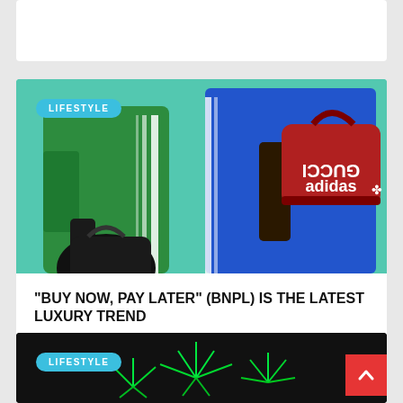[Figure (photo): Partial white card cropped at top of page]
[Figure (photo): Fashion photo showing two models in Gucci x Adidas sportswear – one in green tracksuit holding a black bag, one in blue outfit holding a red Gucci Adidas duffel bag – against a mint green background. A 'LIFESTYLE' badge overlay is in the top-left corner.]
“BUY NOW, PAY LATER” (BNPL) IS THE LATEST LUXURY TREND
[Figure (photo): Partial bottom card showing green fireworks on black background with a 'LIFESTYLE' badge in the top-left corner.]